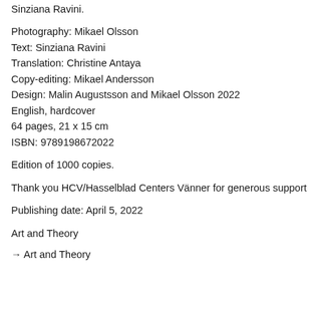Sinziana Ravini.
Photography: Mikael Olsson
Text: Sinziana Ravini
Translation: Christine Antaya
Copy-editing: Mikael Andersson
Design: Malin Augustsson and Mikael Olsson 2022
English, hardcover
64 pages, 21 x 15 cm
ISBN: 9789198672022
Edition of 1000 copies.
Thank you HCV/Hasselblad Centers Vänner for generous support
Publishing date: April 5, 2022
Art and Theory
→ Art and Theory